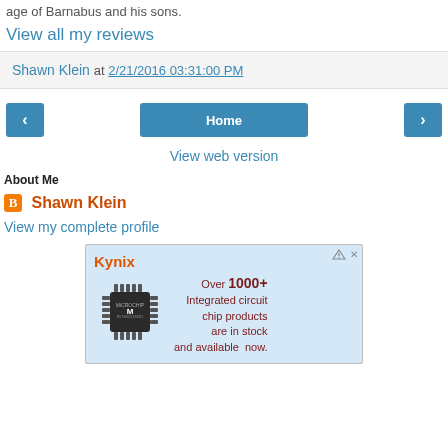age of Barnabus and his sons.
View all my reviews
Shawn Klein at 2/21/2016 03:31:00 PM
Home
View web version
About Me
Shawn Klein
View my complete profile
[Figure (photo): Kynix advertisement showing a microchip with text: Over 1000+ Integrated circuit chip products are in stock and available now.]